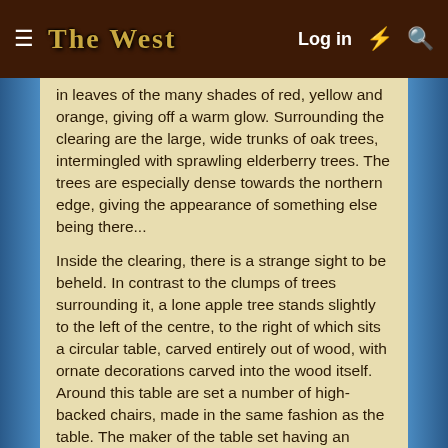THE WEST  Log in
in leaves of the many shades of red, yellow and orange, giving off a warm glow. Surrounding the clearing are the large, wide trunks of oak trees, intermingled with sprawling elderberry trees. The trees are especially dense towards the northern edge, giving the appearance of something else being there...
Inside the clearing, there is a strange sight to be beheld. In contrast to the clumps of trees surrounding it, a lone apple tree stands slightly to the left of the centre, to the right of which sits a circular table, carved entirely out of wood, with ornate decorations carved into the wood itself. Around this table are set a number of high-backed chairs, made in the same fashion as the table. The maker of the table set having an obvious taste for beauty and elegance. The glade is otherwise empty, not a person is in sight as the weary travelers begin to converge on the clearing from their separate directions.
[spoil] OOC: Alawa is ready; she has only yet to post her sheet. This is my first ever RP, so bear with me if I make mistakes. Thank you all for joining. 🙂 [/spoil]